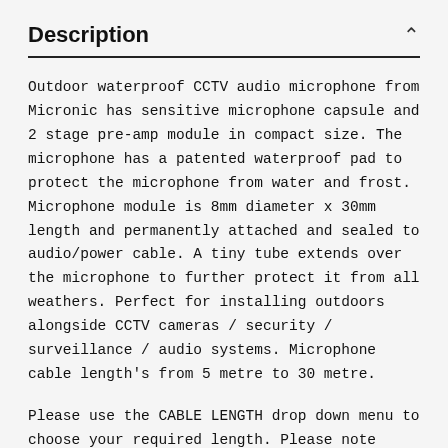Description
Outdoor waterproof CCTV audio microphone from Micronic has sensitive microphone capsule and 2 stage pre-amp module in compact size. The microphone has a patented waterproof pad to protect the microphone from water and frost. Microphone module is 8mm diameter x 30mm length and permanently attached and sealed to audio/power cable. A tiny tube extends over the microphone to further protect it from all weathers. Perfect for installing outdoors alongside CCTV cameras / security / surveillance / audio systems. Microphone cable length's from 5 metre to 30 metre.
Please use the CABLE LENGTH drop down menu to choose your required length. Please note these